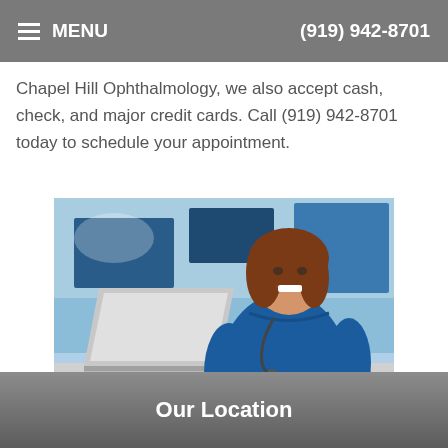MENU   (919) 942-8701
Chapel Hill Ophthalmology, we also accept cash, check, and major credit cards. Call (919) 942-8701 today to schedule your appointment.
[Figure (photo): A female medical professional wearing blue scrubs and a stethoscope, smiling while working on a laptop at a desk in a clinical setting with blue-toned background.]
Our Location